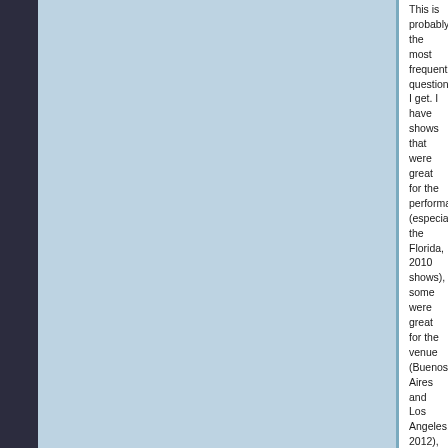This is probably the most frequent question I get. I have shows that were great for the performance (especially the Florida, 2010 shows), some were great for the venue (Buenos Aires and Los Angeles, 2012), some because of the crowd (Croatia, 2011 was amazing) and some were great just because of the people I was attending the shows with (Buenos Aires, Milan, all the California shows in 2010, and many, many more). As some people know, I've met a LOT of friends since I started seeing the shows in 1999 and I've always kept in touch. Now I have some of the most amazing friends I could ever ask for.
Nothing makes me happier than seeing a show with a few friends around me; the performance and venue could be poor for all I care: it's the people you are with that make it a great show.
That also goes for the pre-show meet-ups that I enjoy organizing. The shows are great, but meeting and chatting to everyone before and after the shows and traveling around the world is what I enjoy the most.
I've been fortunate to see the show from many different vantage points, in different venues: one of my favourites was seeing the show from behind the wall in Chicago, in 2010. You can